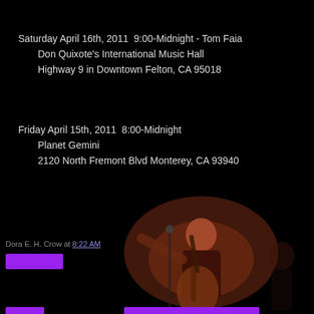Saturday April 16th, 2011  9:00-Midnight - Tom Faia
        Don Quixote’s International Music Hall
        Highway 9 in Downtown Felton, CA 95018
Friday April 15th, 2011  8:00-Midnight
        Planet Gemini
        2120 North Fremont Blvd Monterey, CA 93940
[Figure (photo): Dark concert photo of a man playing acoustic guitar on stage, performing in low ambient reddish-orange lighting against a black background]
Dora E. H. Crow at 8:22 AM
View web version
Powered by Blogger.